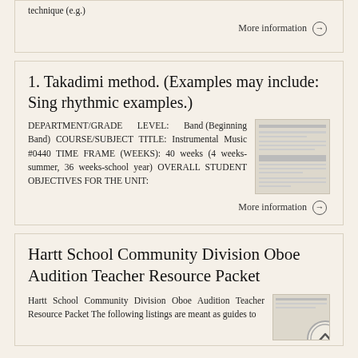technique (e.g.)
More information →
1. Takadimi method. (Examples may include: Sing rhythmic examples.)
DEPARTMENT/GRADE LEVEL: Band (Beginning Band) COURSE/SUBJECT TITLE: Instrumental Music #0440 TIME FRAME (WEEKS): 40 weeks (4 weeks-summer, 36 weeks-school year) OVERALL STUDENT OBJECTIVES FOR THE UNIT:
[Figure (screenshot): Small thumbnail image of a document page]
More information →
Hartt School Community Division Oboe Audition Teacher Resource Packet
Hartt School Community Division Oboe Audition Teacher Resource Packet The following listings are meant as guides to
[Figure (screenshot): Small thumbnail image partially visible at lower right]